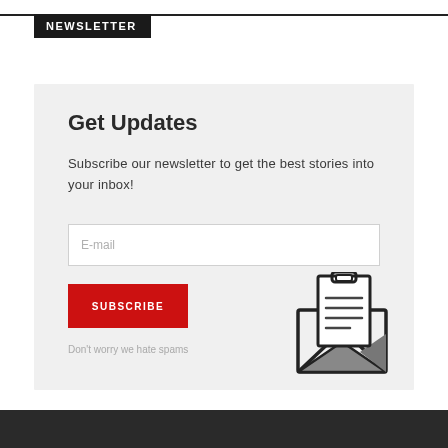NEWSLETTER
Get Updates
Subscribe our newsletter to get the best stories into your inbox!
E-mail
SUBSCRIBE
Don't worry we hate spams
[Figure (illustration): Open envelope icon with a document/letter inside, outline style illustration in dark gray/black and gray tones]